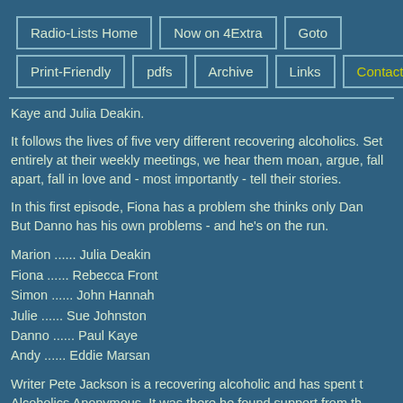Radio-Lists Home
Now on 4Extra
Goto
Print-Friendly
pdfs
Archive
Links
Contact
Kaye and Julia Deakin.
It follows the lives of five very different recovering alcoholics. Set entirely at their weekly meetings, we hear them moan, argue, fall apart, fall in love and - most importantly - tell their stories.
In this first episode, Fiona has a problem she thinks only Danno can solve. But Danno has his own problems - and he's on the run.
Marion ...... Julia Deakin
Fiona ...... Rebecca Front
Simon ...... John Hannah
Julie ...... Sue Johnston
Danno ...... Paul Kaye
Andy ...... Eddie Marsan
Writer Pete Jackson is a recovering alcoholic and has spent time in Alcoholics Anonymous. It was there he found support from the group of disparate souls with one common bond. And it's...